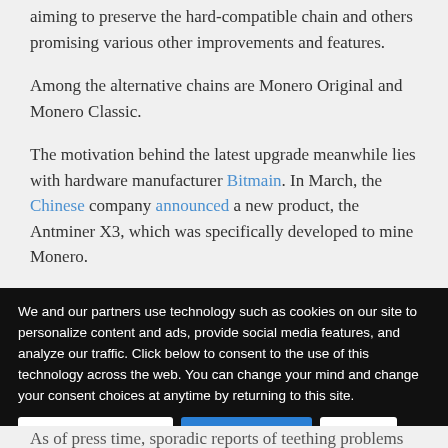aiming to preserve the hard-compatible chain and others promising various other improvements and features.
Among the alternative chains are Monero Original and Monero Classic.
The motivation behind the latest upgrade meanwhile lies with hardware manufacturer Bitmain. In March, the Chinese company announced a new product, the Antminer X3, which was specifically developed to mine Monero.
We and our partners use technology such as cookies on our site to personalize content and ads, provide social media features, and analyze our traffic. Click below to consent to the use of this technology across the web. You can change your mind and change your consent choices at anytime by returning to this site.
Do Not Sell My Data | Manage Options | I Accept
As of press time, sporadic reports of teething problems